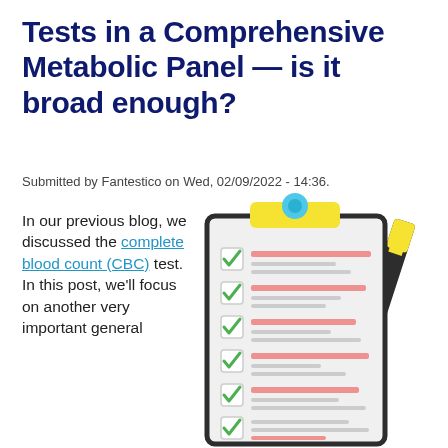Tests in a Comprehensive Metabolic Panel — is it broad enough?
Submitted by Fantestico on Wed, 02/09/2022 - 14:36.
In our previous blog, we discussed the complete blood count (CBC) test. In this post, we'll focus on another very important general
[Figure (illustration): Illustration of a clipboard with a checklist showing multiple checkboxes with green checkmarks, red highlighted lines, and a yellow-tipped pen leaning against it]